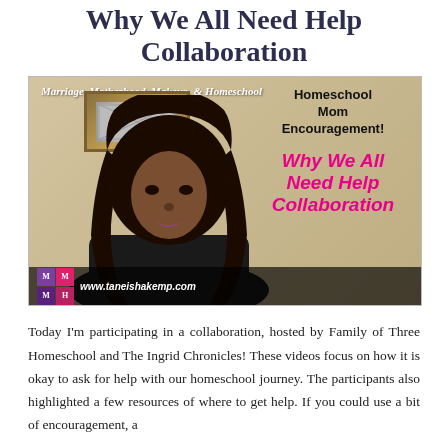Why We All Need Help Collaboration
[Figure (photo): Thumbnail image for a YouTube video titled 'Why We All Need Help Collaboration' from the blog Marriage, Motherhood, Makeup, & Homeschool (www.taneishakemp.com). Shows a Black woman with long curly hair against a tan wall with a framed picture. Right side shows bold black text 'Homeschool Mom Encouragement!' and pink italic text 'Why We All Need Help Collaboration'.]
Today I'm participating in a collaboration, hosted by Family of Three Homeschool and The Ingrid Chronicles! These videos focus on how it is okay to ask for help with our homeschool journey. The participants also highlighted a few resources of where to get help. If you could use a bit of encouragement, a